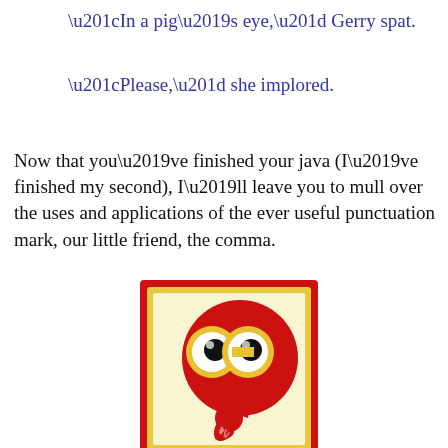“In a pig’s eye,” Gerry spat.
“Please,” she implored.
Now that you’ve finished your java (I’ve finished my second), I’ll leave you to mull over the uses and applications of the ever useful punctuation mark, our little friend, the comma.
[Figure (illustration): A cartoon comma character: a red round body with big yellow-rimmed eyes and a red comma-shaped tail, on a light yellow background with a red border and gold inner border.]